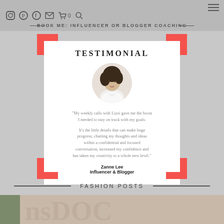BOOK ME: INFLUENCER OR BLOGGER COACHING
TESTIMONIAL
[Figure (photo): Circular portrait photo of a woman with dark curly hair wearing a white blouse]
"My weekly calls with Lizzi gave me the boost I needed to stay on track with my goals.
It's the little details that can make huge progress; chatting my thoughts and ideas within a confidential and focused conversation, increased my confidence and has taken my creativity to a whole new level."
Zanne Lee
Influencer & Blogger
FASHION POSTS
[Figure (photo): Bottom strip showing a partial image with green and beige tones]